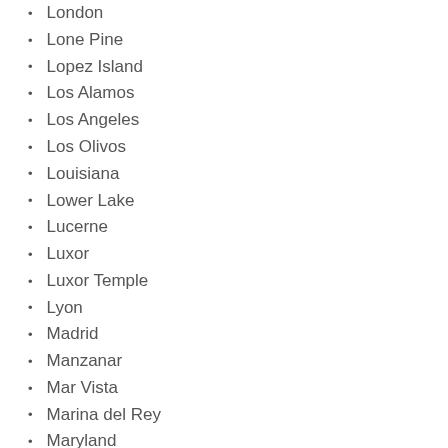London
Lone Pine
Lopez Island
Los Alamos
Los Angeles
Los Olivos
Louisiana
Lower Lake
Lucerne
Luxor
Luxor Temple
Lyon
Madrid
Manzanar
Mar Vista
Marina del Rey
Maryland